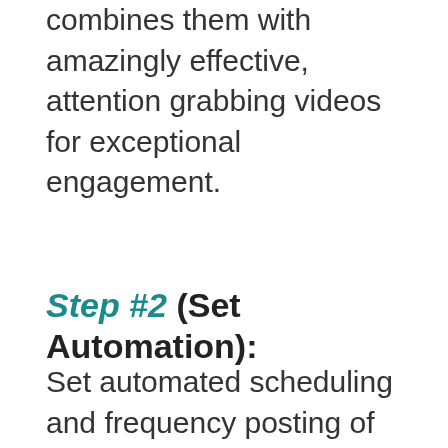combines them with amazingly effective, attention grabbing videos for exceptional engagement.
Step #2 (Set Automation):
Set automated scheduling and frequency posting of your viral, visually compelling motion videos with quotes, so your visitors are consistently reminded of you, click and